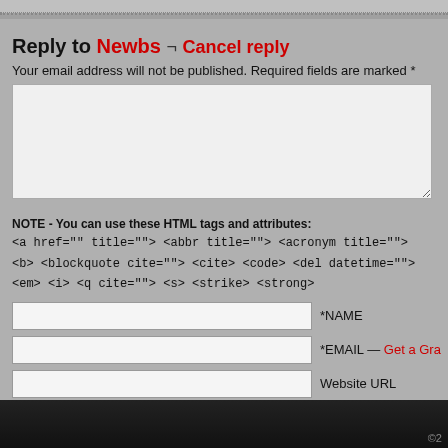Reply to Newbs ¬ Cancel reply
Your email address will not be published. Required fields are marked *
NOTE - You can use these HTML tags and attributes:
<a href="" title=""> <abbr title=""> <acronym title="">
<b> <blockquote cite=""> <cite> <code> <del datetime="">
<em> <i> <q cite=""> <s> <strike> <strong>
*NAME
*EMAIL — Get a Gra
Website URL
Save my name, email, and website in this browser for the next time I comment.
Post Comment